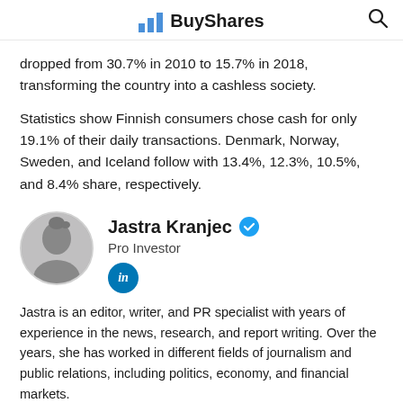BuyShares
dropped from 30.7% in 2010 to 15.7% in 2018, transforming the country into a cashless society.
Statistics show Finnish consumers chose cash for only 19.1% of their daily transactions. Denmark, Norway, Sweden, and Iceland follow with 13.4%, 12.3%, 10.5%, and 8.4% share, respectively.
Jastra Kranjec
Pro Investor
Jastra is an editor, writer, and PR specialist with years of experience in the news, research, and report writing. Over the years, she has worked in different fields of journalism and public relations, including politics, economy, and financial markets.